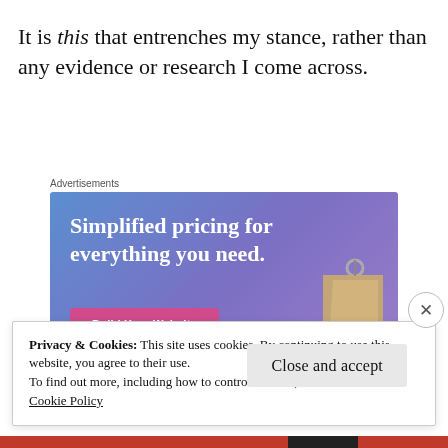It is this that entrenches my stance, rather than any evidence or research I come across.
[Figure (screenshot): Advertisement banner with blue-purple gradient background. Text reads 'Simplified pricing for everything you need.' with a pink 'Build Your Website' button and a hanging price tag illustration on the right.]
Privacy & Cookies: This site uses cookies. By continuing to use this website, you agree to their use.
To find out more, including how to control cookies, see here:
Cookie Policy